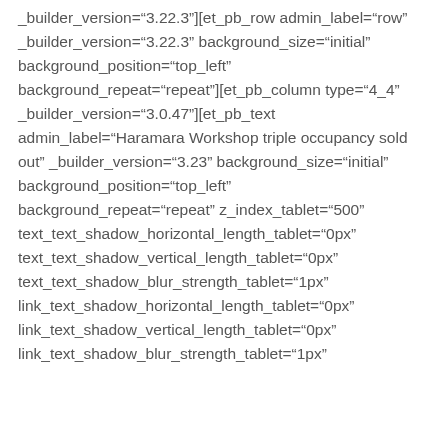_builder_version="3.22.3"][et_pb_row admin_label="row" _builder_version="3.22.3" background_size="initial" background_position="top_left" background_repeat="repeat"][et_pb_column type="4_4" _builder_version="3.0.47"][et_pb_text admin_label="Haramara Workshop triple occupancy sold out" _builder_version="3.23" background_size="initial" background_position="top_left" background_repeat="repeat" z_index_tablet="500" text_text_shadow_horizontal_length_tablet="0px" text_text_shadow_vertical_length_tablet="0px" text_text_shadow_blur_strength_tablet="1px" link_text_shadow_horizontal_length_tablet="0px" link_text_shadow_vertical_length_tablet="0px" link_text_shadow_blur_strength_tablet="1px"